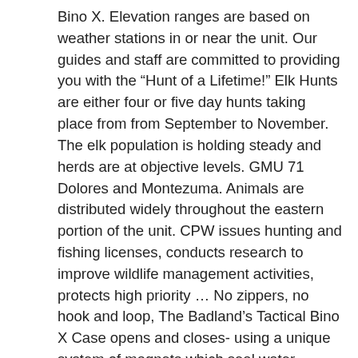Bino X. Elevation ranges are based on weather stations in or near the unit. Our guides and staff are committed to providing you with the “Hunt of a Lifetime!” Elk Hunts are either four or five day hunts taking place from from September to November. The elk population is holding steady and herds are at objective levels. GMU 71 Dolores and Montezuma. Animals are distributed widely throughout the eastern portion of the unit. CPW issues hunting and fishing licenses, conducts research to improve wildlife management activities, protects high priority … No zippers, no hook and loop, The Badland’s Tactical Bino X Case opens and closes- using a unique system of magnets which seal water resistant, we call it the ‘Zip-no’. Hunt the edges of timbered areas slowly at first light and at sundown when elk are most active. This unit spreads across the counties of La Plata and San Juan. From RedZone(TM) to RedZone(TM) 2.0, we’ve made the best wader even better. The agency manages